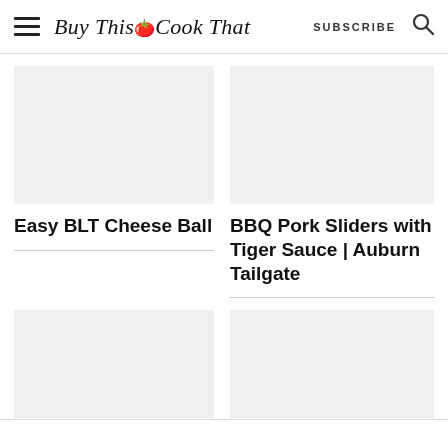Buy This Cook That | SUBSCRIBE
[Figure (photo): Placeholder image area for Easy BLT Cheese Ball recipe card]
Easy BLT Cheese Ball
[Figure (photo): Placeholder image area for BBQ Pork Sliders with Tiger Sauce | Auburn Tailgate recipe card]
BBQ Pork Sliders with Tiger Sauce | Auburn Tailgate